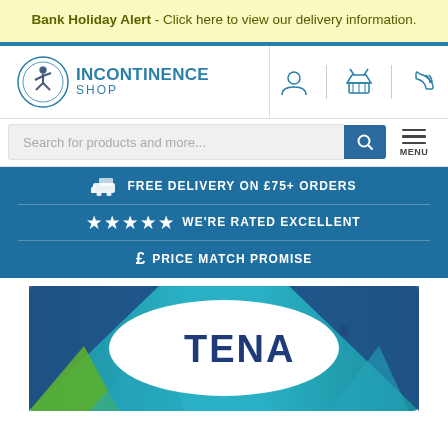Bank Holiday Alert - Click here to view our delivery information.
[Figure (logo): Incontinence Shop logo with figure jumping inside a circular emblem, and text INCONTINENCE SHOP]
[Figure (infographic): Navigation icons: user/account icon, basket/cart icon, phone/contact icon]
Search for products and more...
FREE DELIVERY ON £75+ ORDERS
★ ★ ★ ★ ★  WE'RE RATED EXCELLENT
£ PRICE MATCH PROMISE
[Figure (photo): TENA product packaging box with teal, blue and green geometric design and TENA® brand logo in white oval]